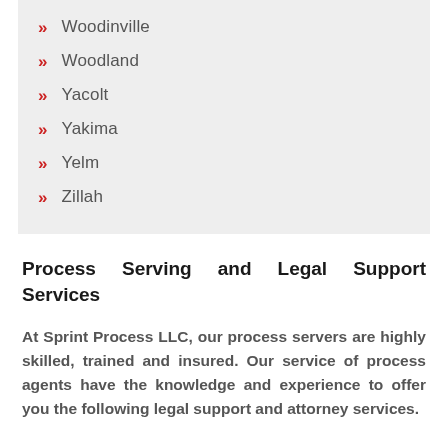Woodinville
Woodland
Yacolt
Yakima
Yelm
Zillah
Process Serving and Legal Support Services
At Sprint Process LLC, our process servers are highly skilled, trained and insured. Our service of process agents have the knowledge and experience to offer you the following legal support and attorney services.